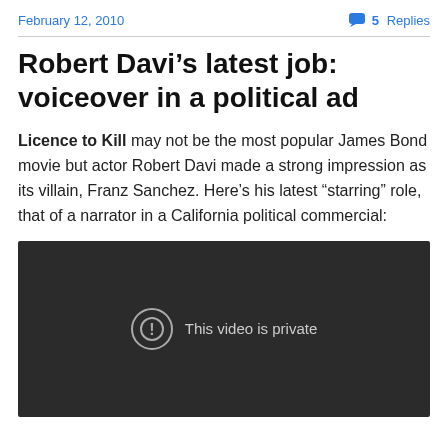February 12, 2010   💬 5 Replies
Robert Davi's latest job: voiceover in a political ad
Licence to Kill may not be the most popular James Bond movie but actor Robert Davi made a strong impression as its villain, Franz Sanchez. Here's his latest "starring" role, that of a narrator in a California political commercial:
[Figure (screenshot): Embedded video player showing a dark background with a circle exclamation icon and text 'This video is private']